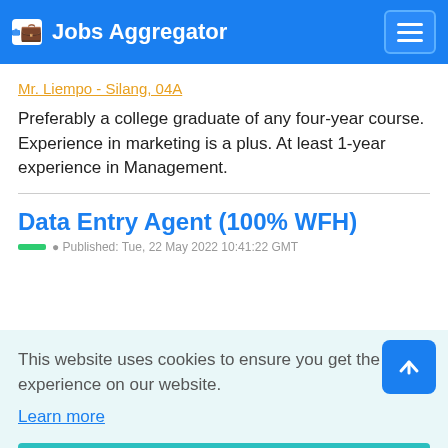Jobs Aggregator
Mr. Liempo - Silang, 04A
Preferably a college graduate of any four-year course. Experience in marketing is a plus. At least 1-year experience in Management.
Data Entry Agent (100% WFH)
This website uses cookies to ensure you get the best experience on our website.
Learn more
Got it!
Card Releasing Officer